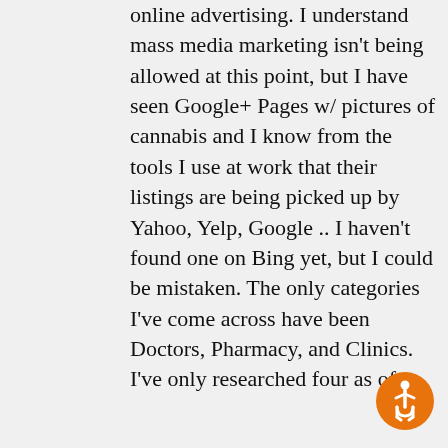online advertising. I understand mass media marketing isn't being allowed at this point, but I have seen Google+ Pages w/ pictures of cannabis and I know from the tools I use at work that their listings are being picked up by Yahoo, Yelp, Google .. I haven't found one on Bing yet, but I could be mistaken. The only categories I've come across have been Doctors, Pharmacy, and Clinics. I've only researched four as of
[Figure (illustration): Orange circular accessibility icon (wheelchair person symbol) in the bottom-right corner]